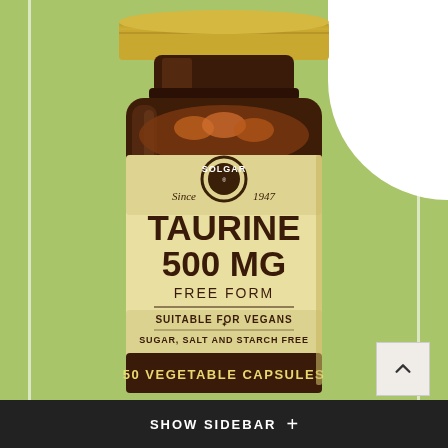[Figure (photo): Solgar Taurine 500 MG Free Form supplement bottle — amber glass jar with gold metal cap and cream/gold label reading: SOLGAR Since 1947, TAURINE 500 MG FREE FORM, SUITABLE FOR VEGANS, SUGAR, SALT AND STARCH FREE, 50 VEGETABLE CAPSULES. Background is light green with white decorative strips and a white curved area top-right.]
SHOW SIDEBAR +